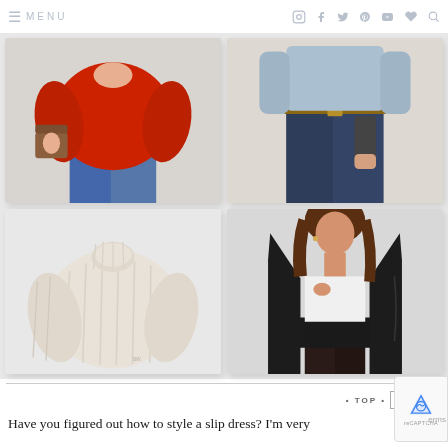≡ MENU [social icons: instagram, facebook, twitter, pinterest, youtube, heart, search]
[Figure (photo): 2x2 grid of fashion product photos: (1) Woman wearing red oversized sweater with jeans and brown bag, (2) Woman in light blue sweater with dark jeans and leopard belt, (3) Cream/beige turtleneck cozy sweater product shot on light background, (4) Woman wearing long black open-front cardigan over white top and black faux leather mini skirt]
Have you figured out how to style a slip dress? I'm very